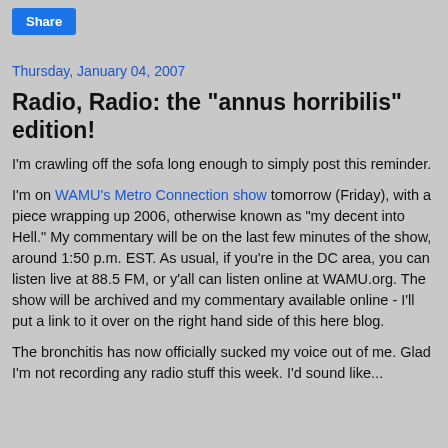[Figure (other): Share button (blue rectangular button with white text 'Share')]
Thursday, January 04, 2007
Radio, Radio: the "annus horribilis" edition!
I'm crawling off the sofa long enough to simply post this reminder.
I'm on WAMU's Metro Connection show tomorrow (Friday), with a piece wrapping up 2006, otherwise known as "my decent into Hell." My commentary will be on the last few minutes of the show, around 1:50 p.m. EST. As usual, if you're in the DC area, you can listen live at 88.5 FM, or y'all can listen online at WAMU.org. The show will be archived and my commentary available online - I'll put a link to it over on the right hand side of this here blog.
The bronchitis has now officially sucked my voice out of me. Glad I'm not recording any radio stuff this week. I'd sound like...